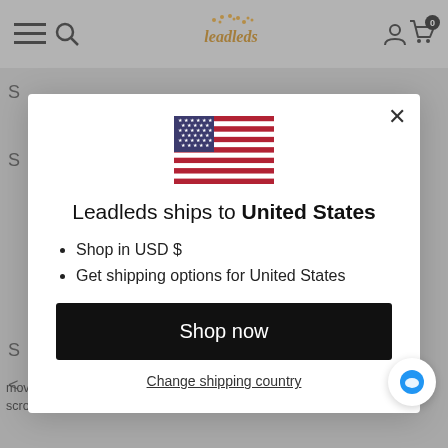Leadleds navigation bar with menu, search, logo, account, and cart icons
[Figure (screenshot): US flag emoji displayed in the modal dialog]
Leadleds ships to United States
Shop in USD $
Get shipping options for United States
Shop now
Change shipping country
moving message sign / Red / remote / remote led s... scrolling led sign